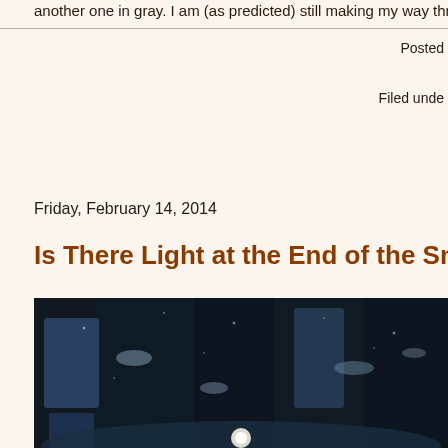another one in gray. I am (as predicted) still making my way through
Posted
Filed unde
Friday, February 14, 2014
Is There Light at the End of the Snow Tunnel?
[Figure (photo): A dark winter outdoor scene with snow-covered ground, dark tree trunks, and a small bright circular light visible at the bottom center of the image.]